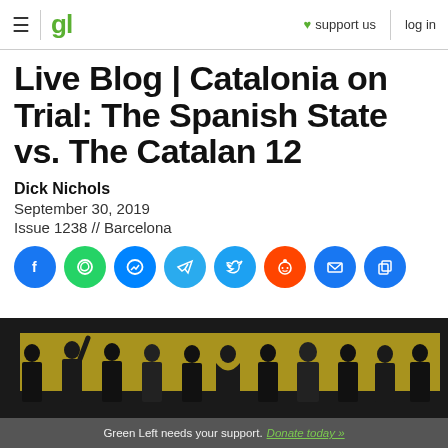gl | support us | log in
Live Blog | Catalonia on Trial: The Spanish State vs. The Catalan 12
Dick Nichols
September 30, 2019
Issue 1238 // Barcelona
[Figure (infographic): Row of social media sharing icons: Facebook, WhatsApp, Messenger, Telegram, Twitter, Reddit, Email, Copy]
[Figure (photo): Black and white group photo of approximately 12 people in formal attire standing in a row against a yellow painted background, believed to be the Catalan independence leaders on trial]
Green Left needs your support. Donate today »